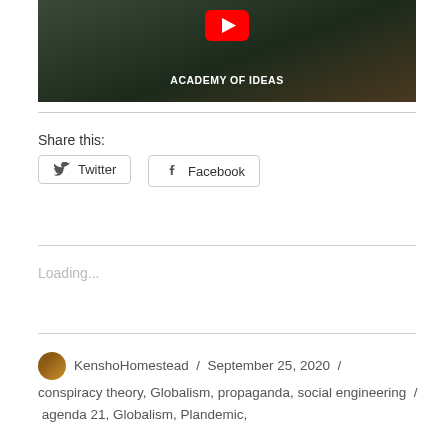[Figure (screenshot): YouTube video thumbnail for 'Academy of Ideas' channel showing a painted scene of figures in an outdoor setting with text 'ACADEMY OF IDEAS' overlaid]
Share this:
Twitter
Facebook
Loading...
KenshoHomestead / September 25, 2020 / conspiracy theory, Globalism, propaganda, social engineering / agenda 21, Globalism, Plandemic,